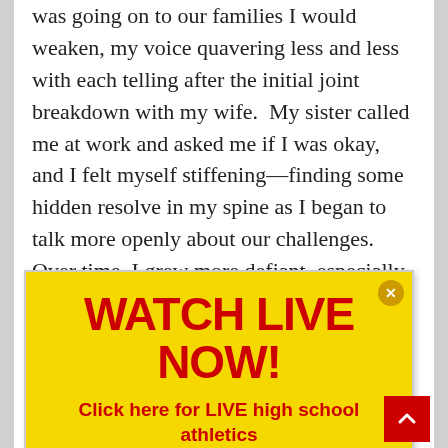Every time thereafter that I had to explain what was going on to our families I would weaken, my voice quavering less and less with each telling after the initial joint breakdown with my wife.  My sister called me at work and asked me if I was okay, and I felt myself stiffening—finding some hidden resolve in my spine as I began to talk more openly about our challenges.  Over time, I grew more defiant, especially if anyone chanced to offer their pity…he wasn't a source of pity—he was just a little different is all.  He might like to line up his
[Figure (infographic): Yellow advertisement banner overlay with red bold text 'WATCH LIVE NOW!' and subtitle 'Click here for LIVE high school athletics via Eli Sports on the NFHS Network!' with a close button (x) in the top right corner and a red scroll-to-top button in the bottom right.]